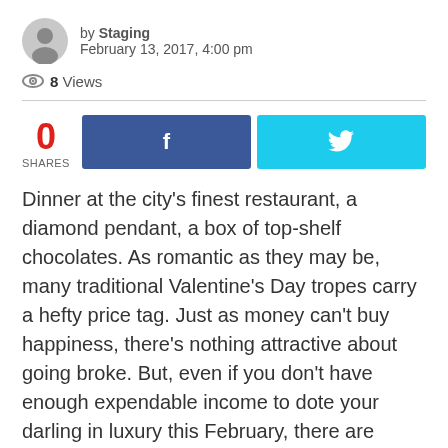by Staging
February 13, 2017, 4:00 pm
8 Views
0 SHARES
Dinner at the city's finest restaurant, a diamond pendant, a box of top-shelf chocolates. As romantic as they may be, many traditional Valentine's Day tropes carry a hefty price tag. Just as money can't buy happiness, there's nothing attractive about going broke. But, even if you don't have enough expendable income to dote your darling in luxury this February, there are plenty of sweet ways to show your affection